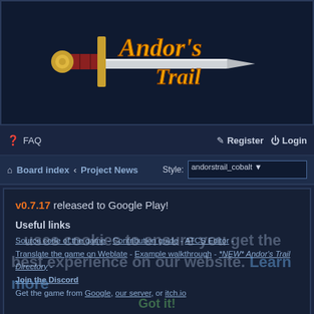[Figure (logo): Andor's Trail game logo with sword graphic and gold/red text]
FAQ   Register   Login
Board index · Project News   Style: andorstrail_cobalt
v0.7.17 released to Google Play!
Useful links
Source code of the game - Contribution guide - ATCS Editor - Translate the game on Weblate - Example walkthrough - *NEW* Andor's Trail Directory - Join the Discord Get the game from Google, our server, or itch.io
Now with content! Beta v0.7.14 is available now!
130 posts   1 ... 9 10 11 12 13